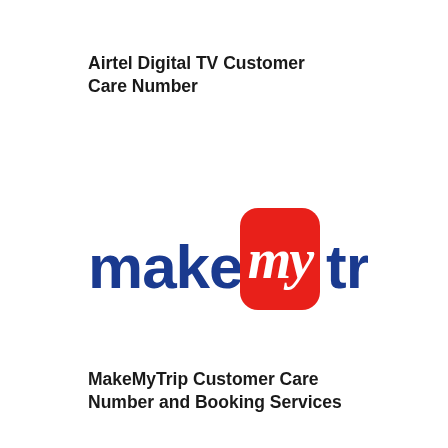Airtel Digital TV Customer Care Number
[Figure (logo): MakeMyTrip logo: the word 'make' in blue, a red rounded rectangle containing 'my' in white cursive script, and 'trip' in blue]
MakeMyTrip Customer Care Number and Booking Services